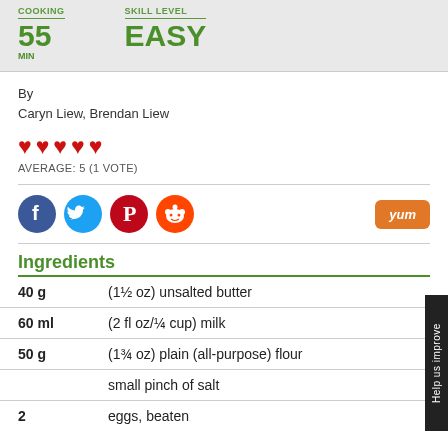COOKING 55 MIN | SKILL LEVEL EASY
By
Caryn Liew, Brendan Liew
[Figure (other): Five red heart icons representing a 5-star rating]
AVERAGE: 5 (1 VOTE)
[Figure (other): Social media icons: Facebook, Twitter, Pinterest, Reddit, and Yum button]
Ingredients
40 g (1½ oz) unsalted butter
60 ml (2 fl oz/¼ cup) milk
50 g (1¾ oz) plain (all-purpose) flour
small pinch of salt
2 eggs, beaten